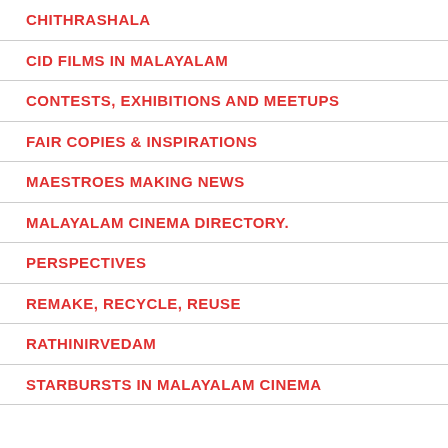CHITHRASHALA
CID FILMS IN MALAYALAM
CONTESTS, EXHIBITIONS AND MEETUPS
FAIR COPIES & INSPIRATIONS
MAESTROES MAKING NEWS
MALAYALAM CINEMA DIRECTORY.
PERSPECTIVES
REMAKE, RECYCLE, REUSE
RATHINIRVEDAM
STARBURSTS IN MALAYALAM CINEMA